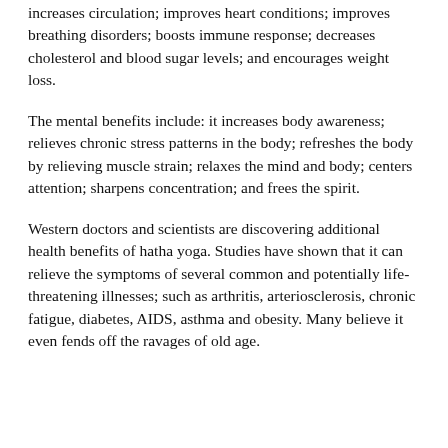increases circulation; improves heart conditions; improves breathing disorders; boosts immune response; decreases cholesterol and blood sugar levels; and encourages weight loss.
The mental benefits include: it increases body awareness; relieves chronic stress patterns in the body; refreshes the body by relieving muscle strain; relaxes the mind and body; centers attention; sharpens concentration; and frees the spirit.
Western doctors and scientists are discovering additional health benefits of hatha yoga. Studies have shown that it can relieve the symptoms of several common and potentially life-threatening illnesses; such as arthritis, arteriosclerosis, chronic fatigue, diabetes, AIDS, asthma and obesity. Many believe it even fends off the ravages of old age.